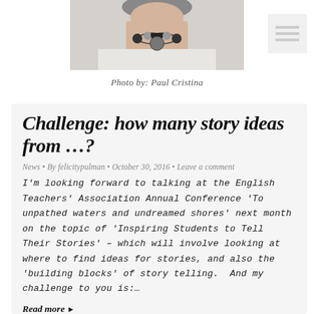[Figure (photo): Cropped photo of a person wearing a decorative necklace, shown from shoulders up, on a white/light background]
Photo by: Paul Cristina
Challenge: how many story ideas from …?
News • By felicitypulman • October 30, 2016 • Leave a comment
I'm looking forward to talking at the English Teachers' Association Annual Conference 'To unpathed waters and undreamed shores' next month on the topic of 'Inspiring Students to Tell Their Stories' – which will involve looking at where to find ideas for stories, and also the 'building blocks' of story telling.  And my challenge to you is:…
Read more ▸